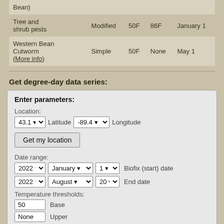| Pest | Method | Lower | Upper | Start |
| --- | --- | --- | --- | --- |
| Bean) |  |  |  |  |
| Tree and shrub pests | Modified | 50F | 86F | January 1 |
| Western Bean Cutworm (More info) | Simple | 50F | None | May 1 |
Get degree-day data series:
Enter parameters:
Location:
43.1 Latitude  -89.4 Longitude
Get my location
Date range:
2022  January  1  Biofix (start) date
2022  August  20  End date
Temperature thresholds:
50 Base
None Upper